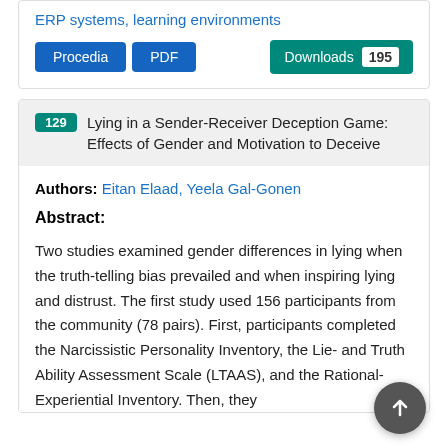ERP systems, learning environments
Procedia | PDF | Downloads 195
129 Lying in a Sender-Receiver Deception Game: Effects of Gender and Motivation to Deceive
Authors: Eitan Elaad, Yeela Gal-Gonen
Abstract:
Two studies examined gender differences in lying when the truth-telling bias prevailed and when inspiring lying and distrust. The first study used 156 participants from the community (78 pairs). First, participants completed the Narcissistic Personality Inventory, the Lie- and Truth Ability Assessment Scale (LTAAS), and the Rational-Experiential Inventory. Then, they